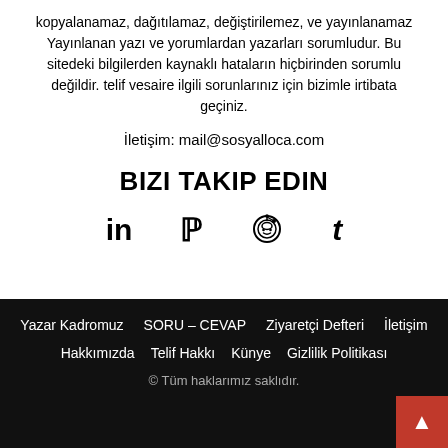kopyalanamaz, dağıtılamaz, değiştirilemez, ve yayınlanamaz Yayınlanan yazı ve yorumlardan yazarları sorumludur. Bu sitedeki bilgilerden kaynaklı hataların hiçbirinden sorumlu değildir. telif vesaire ilgili sorunlarınız için bizimle irtibata geçiniz.
İletişim: mail@sosyalloca.com
BIZI TAKIP EDIN
[Figure (other): Social media icons: LinkedIn (in), Pinterest (p), Reddit, Tumblr (t)]
Yazar Kadromuz   SORU – CEVAP   Ziyaretçi Defteri   İletişim   Hakkımızda   Telif Hakkı   Künye   Gizlilik Politikası   © Tüm haklarımız saklıdır.